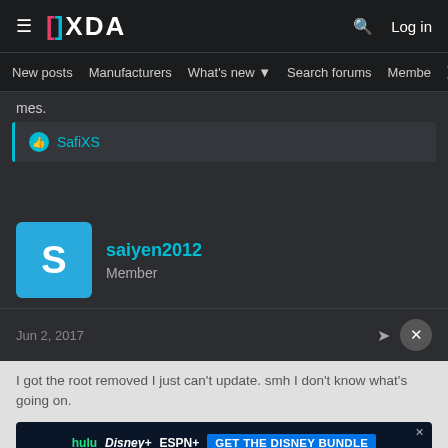XDA — Navigation header with logo, search, log in
New posts  Manufacturers  What's new  Search forums  Members  >
mes.
SafiXS
saiyen2012
Member
Jun 2, 2017
I got the root removed I just can't update. smh I don't know what's going on.
[Figure (infographic): Disney Bundle advertisement banner showing Hulu, Disney+, ESPN+ logos with GET THE DISNEY BUNDLE CTA button]